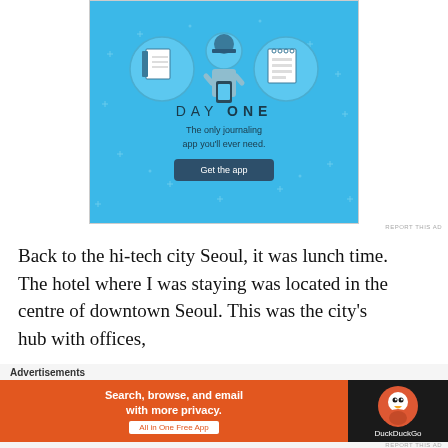[Figure (illustration): Day One journaling app advertisement. Light blue background with star dots. Three icons at top: a notebook on left, a person holding a phone in center, a checklist on right. Text: 'DAY ONE' in spaced lettering, 'The only journaling app you'll ever need.' Button: 'Get the app']
Back to the hi-tech city Seoul, it was lunch time. The hotel where I was staying was located in the centre of downtown Seoul. This was the city's hub with offices,
[Figure (illustration): DuckDuckGo advertisement. Left orange section: 'Search, browse, and email with more privacy. All in One Free App'. Right dark section: DuckDuckGo duck logo and 'DuckDuckGo' text.]